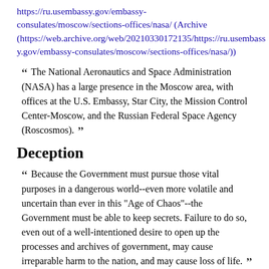https://ru.usembassy.gov/embassy-consulates/moscow/sections-offices/nasa/ (Archive (https://web.archive.org/web/20210330172135/https://ru.usembassy.gov/embassy-consulates/moscow/sections-offices/nasa/))
“ The National Aeronautics and Space Administration (NASA) has a large presence in the Moscow area, with offices at the U.S. Embassy, Star City, the Mission Control Center-Moscow, and the Russian Federal Space Agency (Roscosmos). ”
Deception
“ Because the Government must pursue those vital purposes in a dangerous world--even more volatile and uncertain than ever in this "Age of Chaos"--the Government must be able to keep secrets. Failure to do so, even out of a well-intentioned desire to open up the processes and archives of government, may cause irreparable harm to the nation, and may cause loss of life. ”